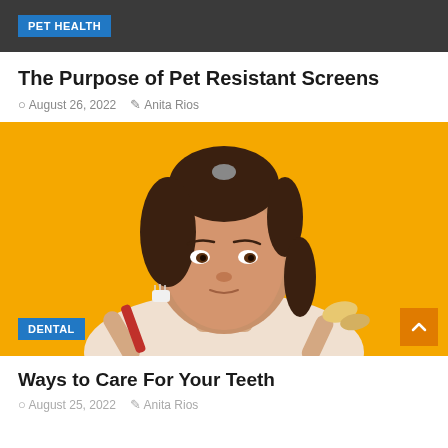PET HEALTH
The Purpose of Pet Resistant Screens
August 26, 2022  Anita Rios
[Figure (photo): Young woman with brown hair in a ponytail holding a red toothbrush and a yellow dental chew against a bright yellow background, wearing a cream sweater. A DENTAL badge appears in the lower left corner.]
Ways to Care For Your Teeth
August 25, 2022  Anita Rios